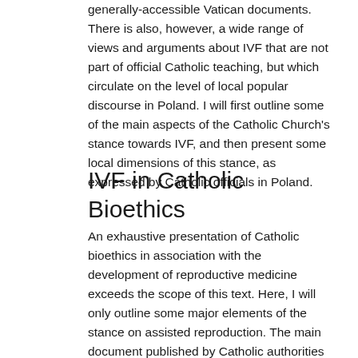generally-accessible Vatican documents. There is also, however, a wide range of views and arguments about IVF that are not part of official Catholic teaching, but which circulate on the level of local popular discourse in Poland. I will first outline some of the main aspects of the Catholic Church's stance towards IVF, and then present some local dimensions of this stance, as expressed by Catholic officials in Poland.
IVF in Catholic Bioethics
An exhaustive presentation of Catholic bioethics in association with the development of reproductive medicine exceeds the scope of this text. Here, I will only outline some major elements of the stance on assisted reproduction. The main document published by Catholic authorities concerning ART is the Instruction on Respect for Human Life in its Origin and on the Dignity of Procreation; Replies to Certain Questions of the Day Donum Vitae (hereinafter Donum Vitae), issued in 1987